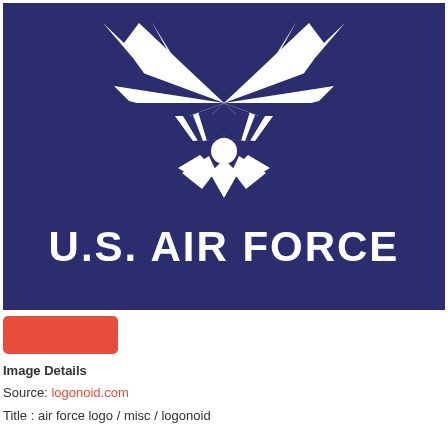[Figure (logo): U.S. Air Force official logo on dark navy blue background. Features the Air Force symbol (stylized wings and star) in white above the text 'U.S. AIR FORCE' in large white bold letters.]
[Figure (other): Red/coral color swatch rectangle]
Image Details
Source: logonoid.com
Title : air force logo / misc / logonoid